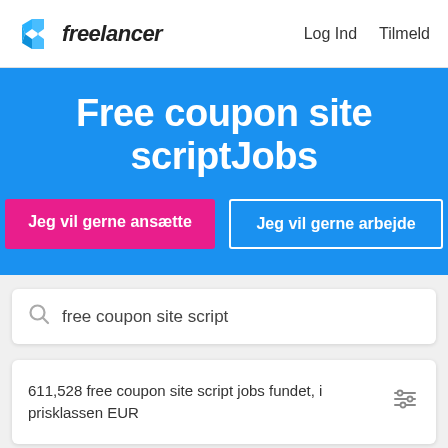freelancer   Log Ind   Tilmeld
Free coupon site scriptJobs
Jeg vil gerne ansætte
Jeg vil gerne arbejde
free coupon site script
611,528 free coupon site script jobs fundet, i prisklassen EUR